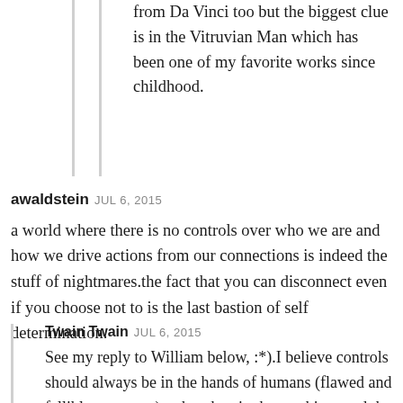from Da Vinci too but the biggest clue is in the Vitruvian Man which has been one of my favorite works since childhood.
awaldstein JUL 6, 2015
a world where there is no controls over who we are and how we drive actions from our connections is indeed the stuff of nightmares.the fact that you can disconnect even if you choose not to is the last bastion of self determination.
Twain Twain JUL 6, 2015
See my reply to William below, :*).I believe controls should always be in the hands of humans (flawed and fallible as we are) rather than in the machines and the nanobots inside our brain cells.There are definitely different